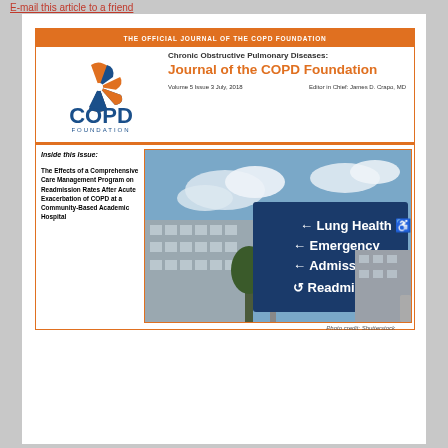E-mail this article to a friend
THE OFFICIAL JOURNAL OF THE COPD FOUNDATION
Chronic Obstructive Pulmonary Diseases:
Journal of the COPD Foundation
Volume 5  Issue 3  July, 2018    Editor in Chief: James D. Crapo, MD
Inside this Issue:
The Effects of a Comprehensive Care Management Program on Readmission Rates After Acute Exacerbation of COPD at a Community-Based Academic Hospital
[Figure (photo): Hospital directional sign showing arrows pointing to Lung Health, Emergency, Admissions, and Readmissions, with hospital building in background]
Photo credit: Shutterstock